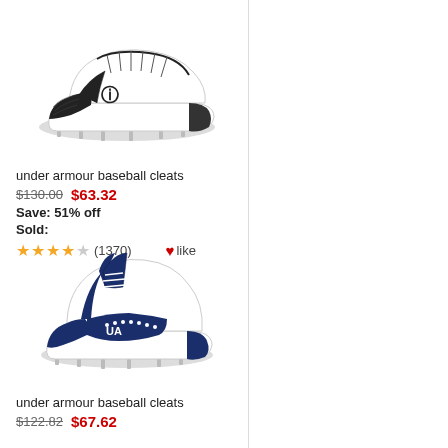[Figure (photo): Under Armour black and white baseball cleat with metal spikes, low-cut style, UA logo on side]
under armour baseball cleats
$130.00  $63.32
Save: 51% off
Sold:
★★★★☆ (1370)  ♥like
[Figure (photo): Under Armour navy blue and white baseball cleat with metal spikes, mid-cut style, UA logo on side]
under armour baseball cleats
$122.82  $67.62